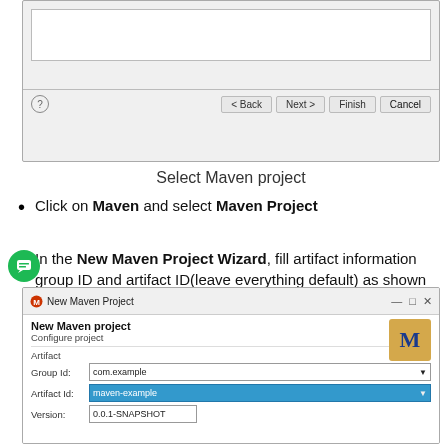[Figure (screenshot): Dialog window showing bottom portion with Back, Next, Finish, Cancel buttons and a help icon]
Select Maven project
Click on Maven and select Maven Project
In the New Maven Project Wizard, fill artifact information group ID and artifact ID(leave everything default) as shown below
[Figure (screenshot): New Maven Project dialog showing artifact fields: Group Id: com.example, Artifact Id: maven-example (selected), and beginning of Version field]